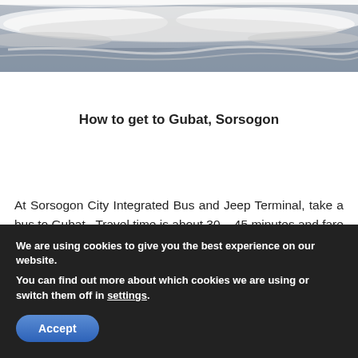[Figure (photo): Black and white photo of ocean waves with white foam and choppy water, cropped to show just the waves.]
How to get to Gubat, Sorsogon
At Sorsogon City Integrated Bus and Jeep Terminal, take a bus to Gubat.  Travel time is about 30 – 45 minutes and fare
We are using cookies to give you the best experience on our website.
You can find out more about which cookies we are using or switch them off in settings.
Accept